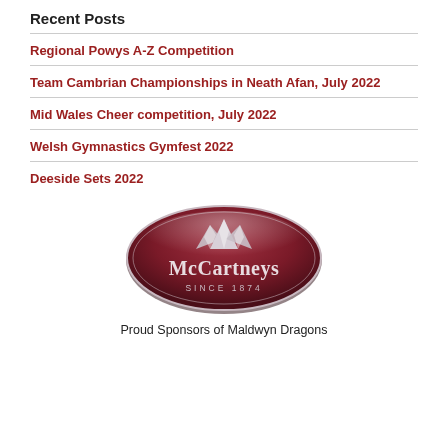Recent Posts
Regional Powys A-Z Competition
Team Cambrian Championships in Neath Afan, July 2022
Mid Wales Cheer competition, July 2022
Welsh Gymnastics Gymfest 2022
Deeside Sets 2022
[Figure (logo): McCartneys logo - dark red oval shaped badge with silver mountain peaks icon and text 'McCartneys SINCE 1874']
Proud Sponsors of Maldwyn Dragons